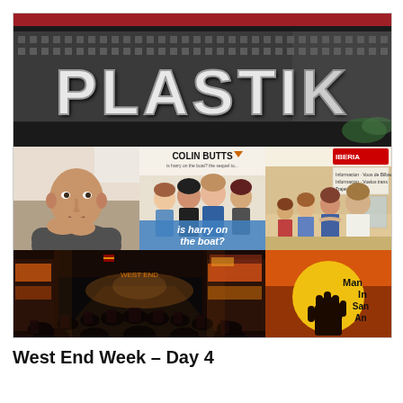[Figure (photo): Collage of photos: top — large sign reading PLASTIK in metallic letters on a glittery background; middle left — headshot of a bald middle-aged man resting his chin on his hands; middle center — book cover 'is harry on the boat?' by Colin Butts showing group of young women; middle right — vintage photo of group of people at Iberia airport; bottom left — busy night street scene with crowds; bottom right — 'Man In San An' logo, yellow circle with hand silhouette and text.]
West End Week – Day 4